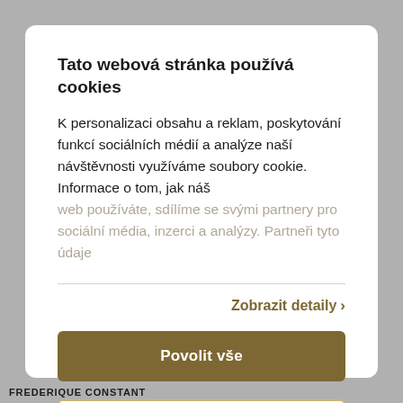Tato webová stránka používá cookies
K personalizaci obsahu a reklam, poskytování funkcí sociálních médií a analýze naší návštěvnosti využíváme soubory cookie. Informace o tom, jak náš web používáte, sdílíme se svými partnery pro sociální média, inzerci a analýzy. Partneři tyto údaje
Zobrazit detaily ›
Povolit vše
Upravit ›
FREDERIQUE CONSTANT